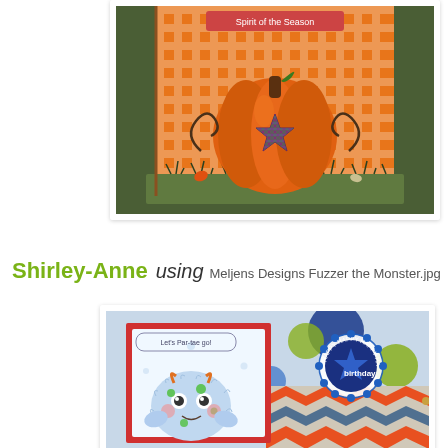[Figure (photo): Handmade Halloween card with orange gingham patterned paper, a colored pumpkin with a star cut-out, decorative swirls, and grass border on green base.]
Shirley-Anne using Meljens Designs Fuzzer the Monster.jpg
[Figure (photo): Handmade birthday card featuring Fuzzer the Monster character (blue fluffy monster) on polka dot and chevron patterned paper with a blue birthday star medallion.]